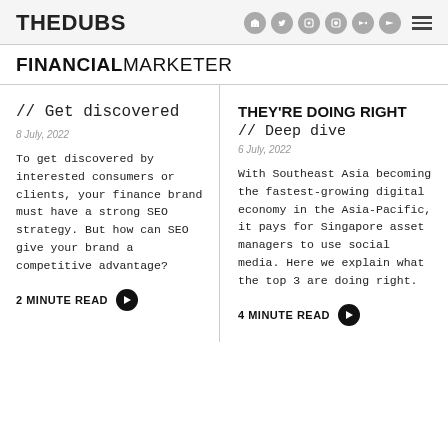THEDUBS
FINANCIAL MARKETER
// Get discovered
8 July, 2022
To get discovered by interested consumers or clients, your finance brand must have a strong SEO strategy. But how can SEO give your brand a competitive advantage?
2 MINUTE READ
THEY'RE DOING RIGHT // Deep dive
6 July, 2022
With Southeast Asia becoming the fastest-growing digital economy in the Asia-Pacific, it pays for Singapore asset managers to use social media. Here we explain what the top 3 are doing right.
4 MINUTE READ